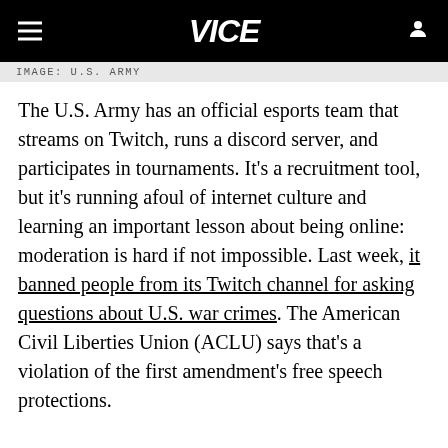VICE
IMAGE: U.S. ARMY
The U.S. Army has an official esports team that streams on Twitch, runs a discord server, and participates in tournaments. It's a recruitment tool, but it's running afoul of internet culture and learning an important lesson about being online: moderation is hard if not impossible. Last week, it banned people from its Twitch channel for asking questions about U.S. war crimes. The American Civil Liberties Union (ACLU) says that's a violation of the first amendment's free speech protections.